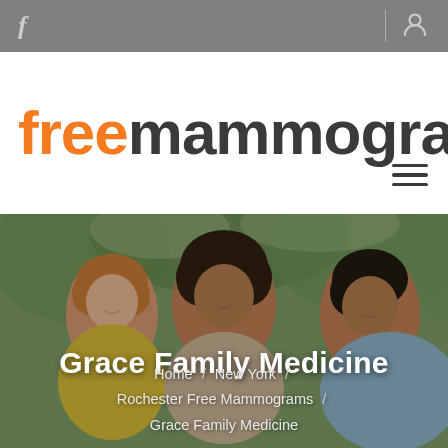f | (user icon)
freemammograms.org
[Figure (photo): Three smiling women outdoors with green trees in background. A white woman with red-blonde hair on the left in a yellow jacket, a Black woman with natural hair in the center, and another woman on the right in a light blue top.]
Grace Family Medicine
Home / New York / Rochester Free Mammograms / Grace Family Medicine